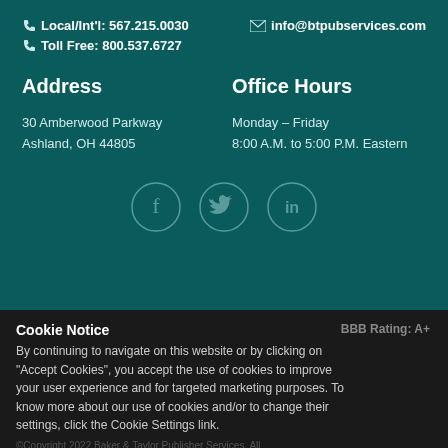Local/Int'l: 567.215.0030
Toll Free: 800.537.6727
info@btpubservices.com
Address
Office Hours
30 Amberwood Parkway
Ashland, OH 44805
Monday – Friday
8:00 A.M. to 5:00 P.M. Eastern
[Figure (infographic): Three social media icons in circles: Facebook (f), Twitter (bird), LinkedIn (in)]
Cookie Notice
BBB Rating: A+
By continuing to navigate on this website or by clicking on "Accept Cookies", you accept the use of cookies to improve your user experience and for targeted marketing purposes. To know more about our use of cookies and/or to change their settings, click the Cookie Settings link.
©Copyright 2022 Baker & Taylor Publisher Services. All rights reserved.